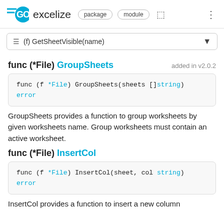GO excelize  package  module
≡ (f) GetSheetVisible(name)
func (*File) GroupSheets   added in v2.0.2
func (f *File) GroupSheets(sheets []string)
error
GroupSheets provides a function to group worksheets by given worksheets name. Group worksheets must contain an active worksheet.
func (*File) InsertCol
func (f *File) InsertCol(sheet, col string)
error
InsertCol provides a function to insert a new column